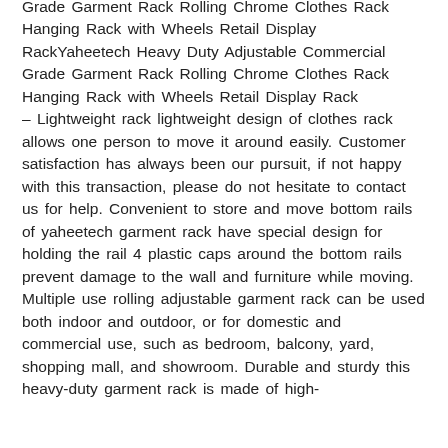Grade Garment Rack Rolling Chrome Clothes Rack Hanging Rack with Wheels Retail Display RackYaheetech Heavy Duty Adjustable Commercial Grade Garment Rack Rolling Chrome Clothes Rack Hanging Rack with Wheels Retail Display Rack – Lightweight rack lightweight design of clothes rack allows one person to move it around easily. Customer satisfaction has always been our pursuit, if not happy with this transaction, please do not hesitate to contact us for help. Convenient to store and move bottom rails of yaheetech garment rack have special design for holding the rail 4 plastic caps around the bottom rails prevent damage to the wall and furniture while moving. Multiple use rolling adjustable garment rack can be used both indoor and outdoor, or for domestic and commercial use, such as bedroom, balcony, yard, shopping mall, and showroom. Durable and sturdy this heavy-duty garment rack is made of high-